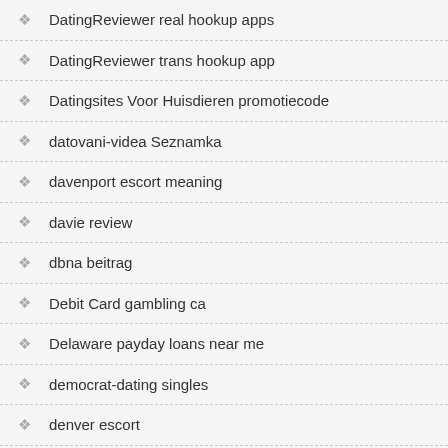DatingReviewer real hookup apps
DatingReviewer trans hookup app
Datingsites Voor Huisdieren promotiecode
datovani-videa Seznamka
davenport escort meaning
davie review
dbna beitrag
Debit Card gambling ca
Delaware payday loans near me
democrat-dating singles
denver escort
Denver+CO+Colorado go to this web-site